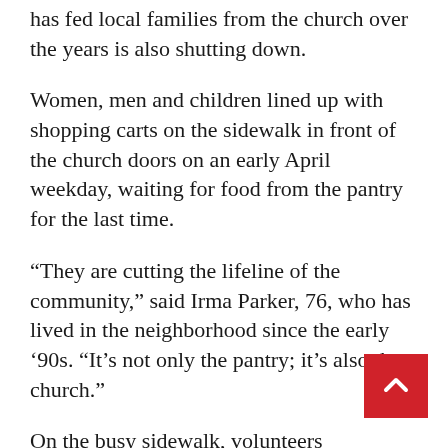has fed local families from the church over the years is also shutting down.
Women, men and children lined up with shopping carts on the sidewalk in front of the church doors on an early April weekday, waiting for food from the pantry for the last time.
“They are cutting the lifeline of the community,” said Irma Parker, 76, who has lived in the neighborhood since the early ‘90s. “It’s not only the pantry; it’s also the church.”
On the busy sidewalk, volunteers distributed juice, pasta, rice, and other essentials from the church basement, to families who said they came every Wednesday. The pantry’s organizers say that some families have visited the pantry regularly.